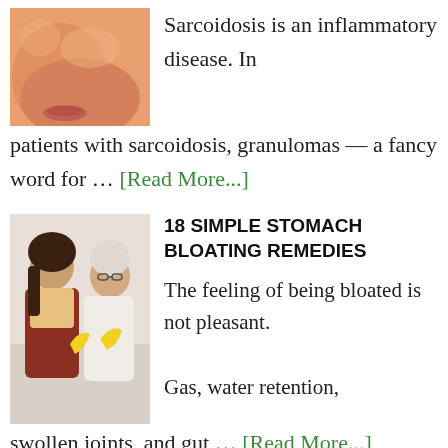[Figure (photo): Close-up photo of a person's face/skin, orange-tinted, showing cheek area]
Sarcoidosis is an inflammatory disease. In patients with sarcoidosis, granulomas — a fancy word for … [Read More...]
[Figure (photo): Photo of two women (one younger, one elderly) holding bananas, standing together indoors]
18 SIMPLE STOMACH BLOATING REMEDIES
The feeling of being bloated is not pleasant. Gas, water retention, swollen joints, and gut … [Read More...]